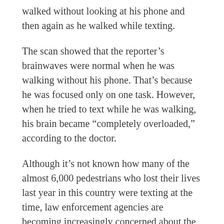walked without looking at his phone and then again as he walked while texting.
The scan showed that the reporter's brainwaves were normal when he was walking without his phone. That's because he was focused only on one task. However, when he tried to text while he was walking, his brain became “completely overloaded,” according to the doctor.
Although it’s not known how many of the almost 6,000 pedestrians who lost their lives last year in this country were texting at the time, law enforcement agencies are becoming increasingly concerned about the problem. Just as when you’re driving a car, a split